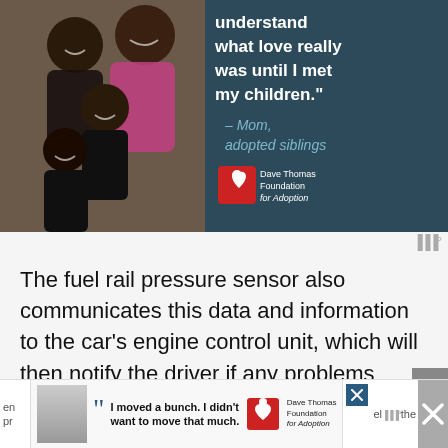[Figure (infographic): Dave Thomas Foundation for Adoption advertisement banner showing a smiling Black family (man, woman, two children) on the left, and a quote on the right: 'understand what love really was until I met my children.' – Mom, adopted siblings, with Dave Thomas Foundation for Adoption logo.]
The fuel rail pressure sensor also communicates this data and information to the car's engine control unit, which will then notify the driver if any problems arise by illuminating a warning light.
Also, with the increasing concern about
[Figure (infographic): Dave Thomas Foundation for Adoption bottom banner advertisement with a boy's photo, quote '66 I moved a bunch. I didn't want to move that much.' and foundation logo. Close and other controls visible.]